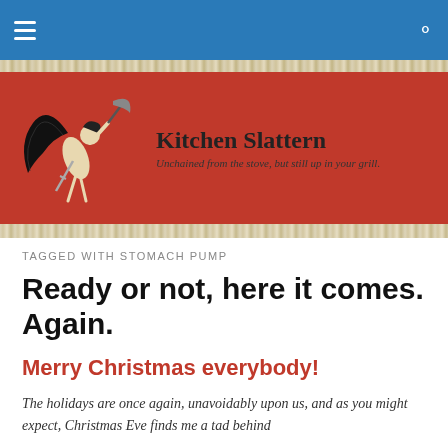Kitchen Slattern — navigation bar with hamburger menu and search icon
[Figure (logo): Kitchen Slattern blog banner with red background, winged figure logo, title 'Kitchen Slattern' and subtitle 'Unchained from the stove, but still up in your grill.']
TAGGED WITH STOMACH PUMP
Ready or not, here it comes. Again.
Merry Christmas everybody!
The holidays are once again, unavoidably upon us, and as you might expect, Christmas Eve finds me a tad behind